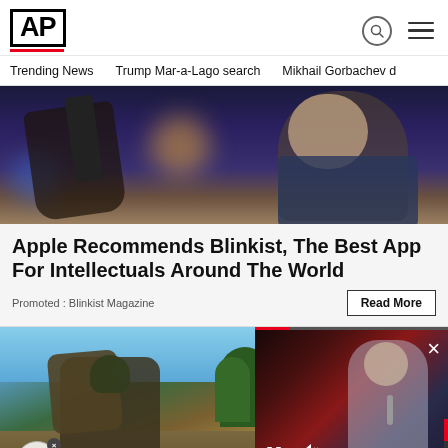AP
Trending News   Trump Mar-a-Lago search   Mikhail Gorbachev d
[Figure (photo): Man looking at smartphone, bokeh background with blue and orange lights]
Apple Recommends Blinkist, The Best App For Intellectuals Around The World
Promoted : Blinkist Magazine
[Figure (photo): Military soldier with heavy pack outdoors, blue sky background]
[Figure (screenshot): Video overlay showing Biden speaking at podium with video controls including pause and mute buttons]